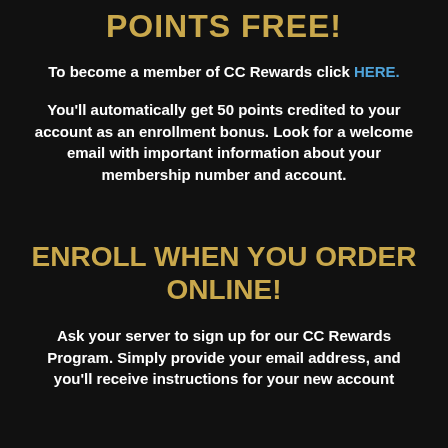POINTS FREE!
To become a member of CC Rewards click HERE.
You'll automatically get 50 points credited to your account as an enrollment bonus. Look for a welcome email with important information about your membership number and account.
ENROLL WHEN YOU ORDER ONLINE!
Ask your server to sign up for our CC Rewards Program. Simply provide your email address, and you'll receive instructions for your new account